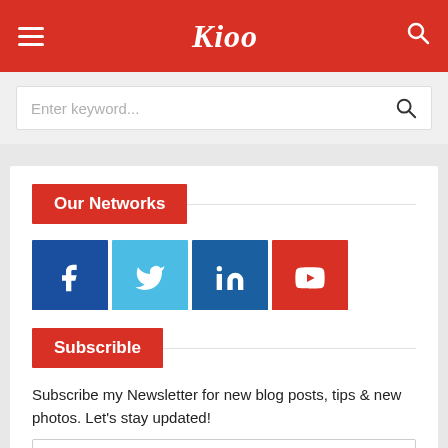Kioo
Enter keyword...
Our Networks
[Figure (other): Social media icon buttons: Facebook (dark blue), Twitter (light blue), LinkedIn (dark blue), YouTube (red)]
Subscrible
Subscribe my Newsletter for new blog posts, tips & new photos. Let's stay updated!